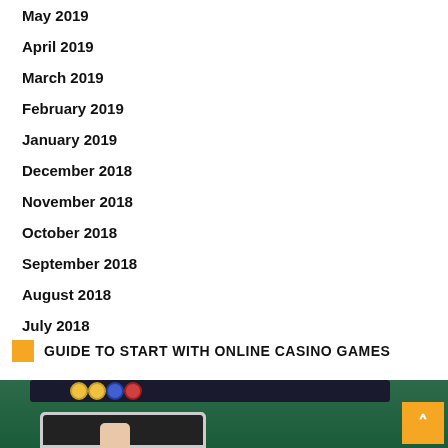May 2019
April 2019
March 2019
February 2019
January 2019
December 2018
November 2018
October 2018
September 2018
August 2018
July 2018
GUIDE TO START WITH ONLINE CASINO GAMES
[Figure (photo): Casino table with poker chips in a tray and a hand holding a tablet device on a green felt surface]